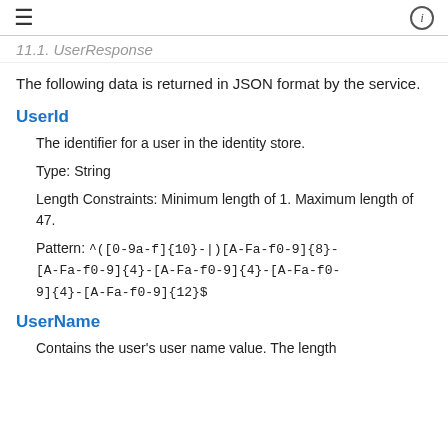≡  ⓘ
UserResponse (truncated)
The following data is returned in JSON format by the service.
UserId
The identifier for a user in the identity store.
Type: String
Length Constraints: Minimum length of 1. Maximum length of 47.
Pattern: ^([0-9a-f]{10}-|)[A-Fa-f0-9]{8}-[A-Fa-f0-9]{4}-[A-Fa-f0-9]{4}-[A-Fa-f0-9]{4}-[A-Fa-f0-9]{12}$
UserName
Contains the user's user name value. The length